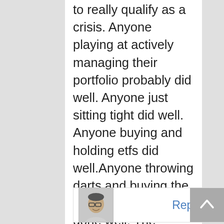to really qualify as a crisis. Anyone playing at actively managing their portfolio probably did well. Anyone just sitting tight did well. Anyone buying and holding etfs did well.Anyone throwing darts and buying the stocks might have done well. The question is will the active traders get out in time, or will the market continue it's up trend? Me I don't care what the market does, and I don't believe that whatever happens will affect my income stream from continuing to go up.
[Figure (photo): Avatar photo of a man with glasses and short hair wearing a light-colored shirt]
Reply